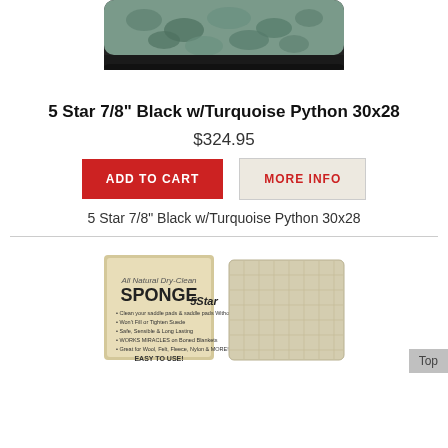[Figure (photo): Product photo of a 5 Star 7/8 inch Black with Turquoise Python pad, top portion visible]
5 Star 7/8" Black w/Turquoise Python 30x28
$324.95
ADD TO CART
MORE INFO
5 Star 7/8" Black w/Turquoise Python 30x28
[Figure (photo): Product photo of an All Natural Dry-Clean Sponge by 5 Star, showing packaging and sponge]